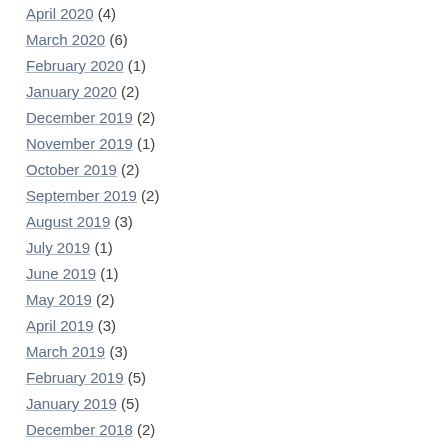April 2020 (4)
March 2020 (6)
February 2020 (1)
January 2020 (2)
December 2019 (2)
November 2019 (1)
October 2019 (2)
September 2019 (2)
August 2019 (3)
July 2019 (1)
June 2019 (1)
May 2019 (2)
April 2019 (3)
March 2019 (3)
February 2019 (5)
January 2019 (5)
December 2018 (2)
November 2018 (1)
October 2018 (2)